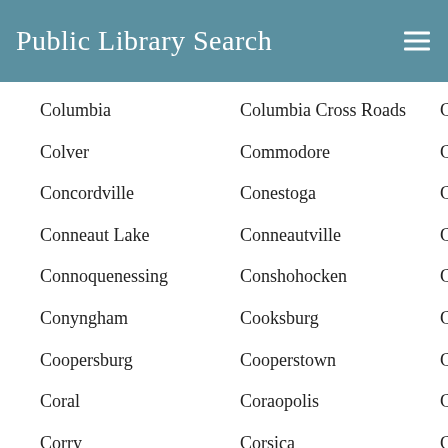Public Library Search
Columbia
Columbia Cross Roads
Columbus
Colver
Commodore
Concord
Concordville
Conestoga
Confluence
Conneaut Lake
Conneautville
Connellsville
Connoquenessing
Conshohocken
Conway
Conyngham
Cooksburg
Coolspring
Coopersburg
Cooperstown
Coplay
Coral
Coraopolis
Cornwall
Corry
Corsica
Coudersport
Coulters
Coupon
Covington
Cowanesque
Cowansville
Crabtree
Craley
Cranberry
Cranberry Twp
Cranesville
Creamery
Creekside